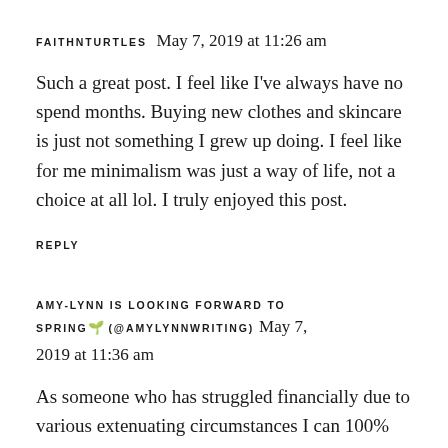FAITHNTURTLES  May 7, 2019 at 11:26 am
Such a great post. I feel like I've always have no spend months. Buying new clothes and skincare is just not something I grew up doing. I feel like for me minimalism was just a way of life, not a choice at all lol. I truly enjoyed this post.
REPLY
AMY-LYNN IS LOOKING FORWARD TO SPRING🌱 (@AMYLYNNWRITING)  May 7, 2019 at 11:36 am
As someone who has struggled financially due to various extenuating circumstances I can 100% understand what it is like to make that shift...